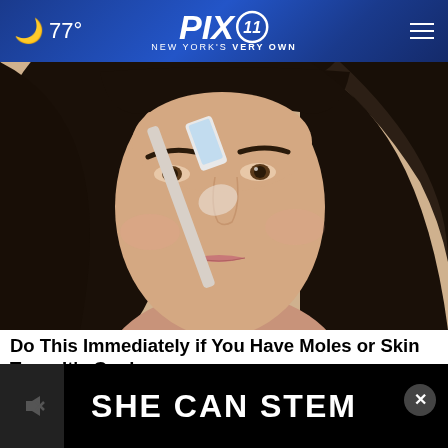🌙 77° | PIX11 NEW YORK'S VERY OWN
[Figure (photo): Close-up photo of a woman with long dark hair holding a toothbrush up to her nose, appearing to scrub or rub it on her nose bridge. She has well-defined eyebrows and is looking slightly to the side.]
Do This Immediately if You Have Moles or Skin Tags, It's Genius
Smart Life Reports
[Figure (screenshot): Black advertisement banner with white bold text reading: SHE CAN STEM. A small video thumbnail is visible on the left with a mute icon.]